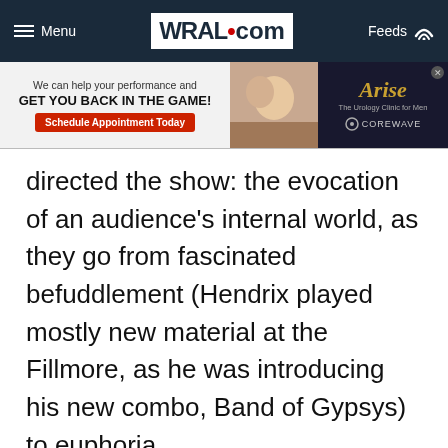Menu | WRAL.com | Feeds
[Figure (screenshot): Advertisement banner: 'We can help your performance and GET YOU BACK IN THE GAME!' with Schedule Appointment Today button, photo of couple, and Arise / The Urology Clinic for Men / COREWAVE logo on dark background]
directed the show: the evocation of an audience’s internal world, as they go from fascinated befuddlement (Hendrix played mostly new material at the Fillmore, as he was introducing his new combo, Band of Gypsys) to euphoria.
Archival footage of Hendrix appears on a screen, flanked by disparate images: war scenes, jellyfish, military parades. The